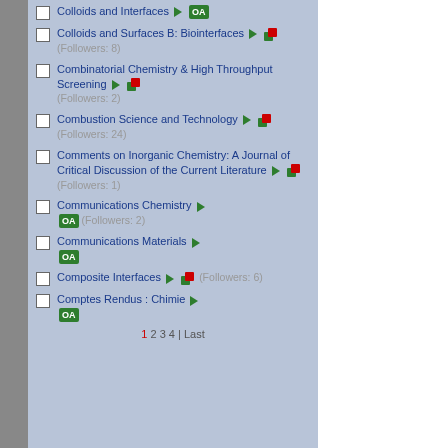Colloids and Interfaces [OA]
Colloids and Surfaces B: Biointerfaces (Followers: 8)
Combinatorial Chemistry & High Throughput Screening (Followers: 2)
Combustion Science and Technology (Followers: 24)
Comments on Inorganic Chemistry: A Journal of Critical Discussion of the Current Literature (Followers: 1)
Communications Chemistry [OA] (Followers: 2)
Communications Materials [OA]
Composite Interfaces (Followers: 6)
Comptes Rendus : Chimie [OA]
1 2 3 4 | Last